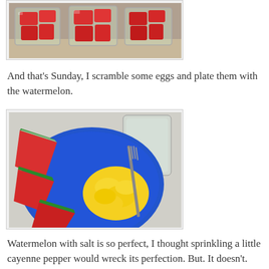[Figure (photo): Three glass jars filled with chunks of red watermelon, viewed from the side on a surface.]
And that's Sunday, I scramble some eggs and plate them with the watermelon.
[Figure (photo): Top-down view of a blue plate with watermelon slices and scrambled eggs, with a fork on the plate and a glass jar nearby on a light surface.]
Watermelon with salt is so perfect, I thought sprinkling a little cayenne pepper would wreck its perfection. But. It doesn't.